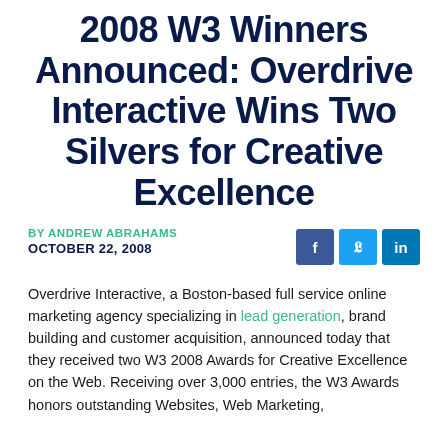2008 W3 Winners Announced: Overdrive Interactive Wins Two Silvers for Creative Excellence
BY ANDREW ABRAHAMS
OCTOBER 22, 2008
Overdrive Interactive, a Boston-based full service online marketing agency specializing in lead generation, brand building and customer acquisition, announced today that they received two W3 2008 Awards for Creative Excellence on the Web. Receiving over 3,000 entries, the W3 Awards honors outstanding Websites, Web Marketing,